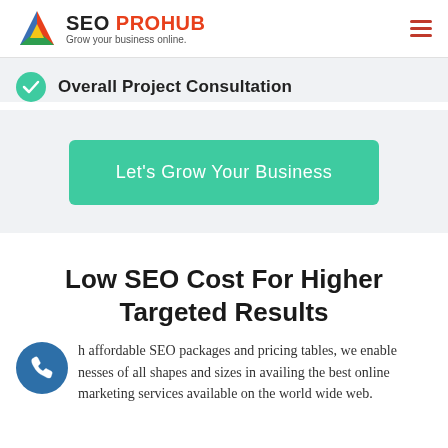SEO PROHUB — Grow your business online.
Overall Project Consultation
Let's Grow Your Business
Low SEO Cost For Higher Targeted Results
h affordable SEO packages and pricing tables, we enable nesses of all shapes and sizes in availing the best online marketing services available on the world wide web.